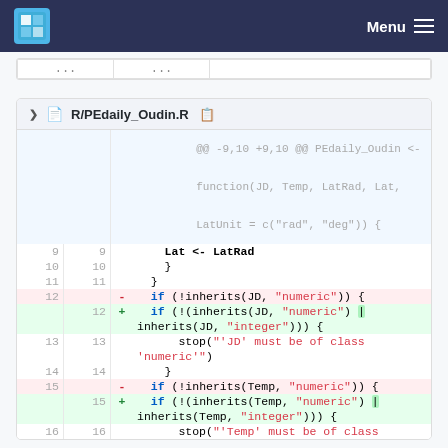Menu
| ... | ... |
| --- | --- |
| ... | ... |
R/PEdaily_Oudin.R
@@ -9,10 +9,10 @@ PEdaily_Oudin <- function(JD, Temp, LatRad, Lat, LatUnit = c("rad", "deg")) {
9  9      Lat <- LatRad
10 10     }
11 11   }
12    - if (!inherits(JD, "numeric")) {
   12 + if (!(inherits(JD, "numeric") | inherits(JD, "integer"))) {
13 13         stop("'JD' must be of class 'numeric'")
14 14     }
15    - if (!inherits(Temp, "numeric")) {
   15 + if (!(inherits(Temp, "numeric") | inherits(Temp, "integer"))) {
16 16         stop("'Temp' must be of class